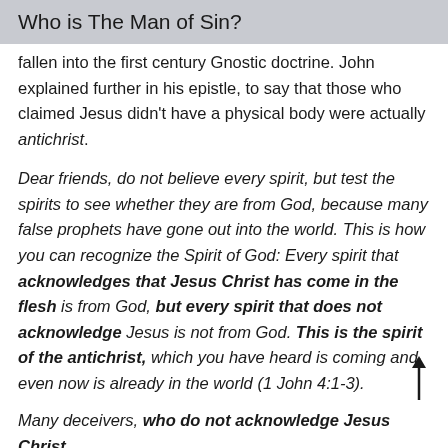Who is The Man of Sin?
fallen into the first century Gnostic doctrine. John explained further in his epistle, to say that those who claimed Jesus didn't have a physical body were actually antichrist.
Dear friends, do not believe every spirit, but test the spirits to see whether they are from God, because many false prophets have gone out into the world. This is how you can recognize the Spirit of God: Every spirit that acknowledges that Jesus Christ has come in the flesh is from God, but every spirit that does not acknowledge Jesus is not from God. This is the spirit of the antichrist, which you have heard is coming and even now is already in the world (1 John 4:1-3).
Many deceivers, who do not acknowledge Jesus Christ